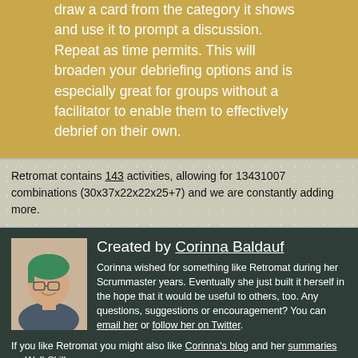draw a card from the category it shows and use it to prompt a discussion. Repeat as time permits. This will broaden your debriefing options and is especially great for groups without a facilitator to enable them to effectively debrief on their own.
Retromat contains 143 activities, allowing for 13431007 combinations (30x37x22x22x25+7) and we are constantly adding more.
Created by Corinna Baldauf
[Figure (photo): Photo of Corinna Baldauf, a woman with short green hair and glasses, smiling]
Corinna wished for something like Retromat during her Scrummaster years. Eventually she just built it herself in the hope that it would be useful to others, too. Any questions, suggestions or encouragement? You can email her or follow her on Twitter. If you like Retromat you might also like Corinna's blog and her summaries on Wall-Skills.com.
Co-developed by Timon Fiddike
[Figure (photo): Photo of Timon Fiddike, a bald man with a beard, smiling]
Timon gives Scrum Trainings. As Integral Coach and Agile Coach he coaches executives, managers, product owners and scrum masters. He has used Retromat since 2013